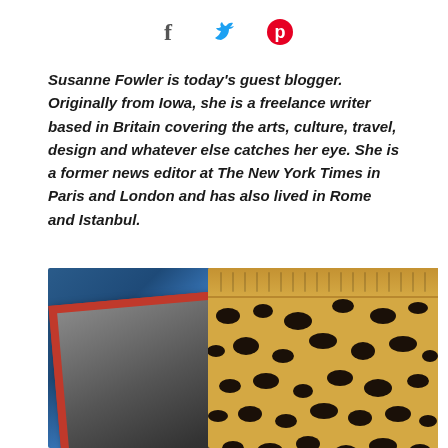[Figure (other): Social sharing icons: Facebook (f), Twitter (bird), Pinterest (p)]
Susanne Fowler is today's guest blogger. Originally from Iowa, she is a freelance writer based in Britain covering the arts, culture, travel, design and whatever else catches her eye. She is a former news editor at The New York Times in Paris and London and has also lived in Rome and Istanbul.
[Figure (photo): A photo on a blue fabric background showing a red-framed picture leaning to the left and a leopard-print fabric/garment on the right.]